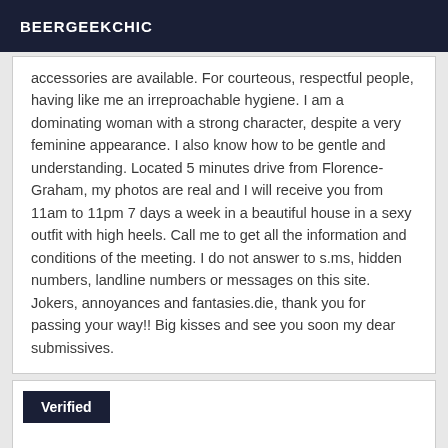BEERGEEKCHIC
accessories are available. For courteous, respectful people, having like me an irreproachable hygiene. I am a dominating woman with a strong character, despite a very feminine appearance. I also know how to be gentle and understanding. Located 5 minutes drive from Florence-Graham, my photos are real and I will receive you from 11am to 11pm 7 days a week in a beautiful house in a sexy outfit with high heels. Call me to get all the information and conditions of the meeting. I do not answer to s.ms, hidden numbers, landline numbers or messages on this site. Jokers, annoyances and fantasies.die, thank you for passing your way!! Big kisses and see you soon my dear submissives.
Verified